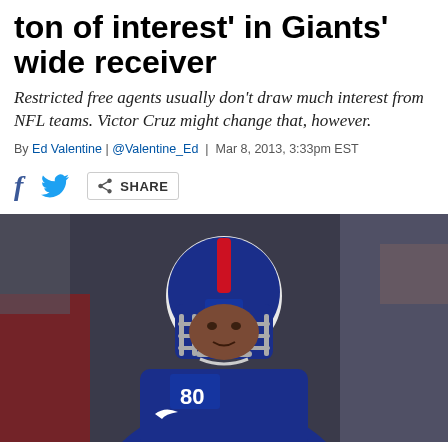ton of interest' in Giants' wide receiver
Restricted free agents usually don't draw much interest from NFL teams. Victor Cruz might change that, however.
By Ed Valentine | @Valentine_Ed | Mar 8, 2013, 3:33pm EST
[Figure (photo): Victor Cruz, New York Giants wide receiver #80, wearing blue Giants uniform and white helmet with NY Giants logo and red stripe, looking forward on field]